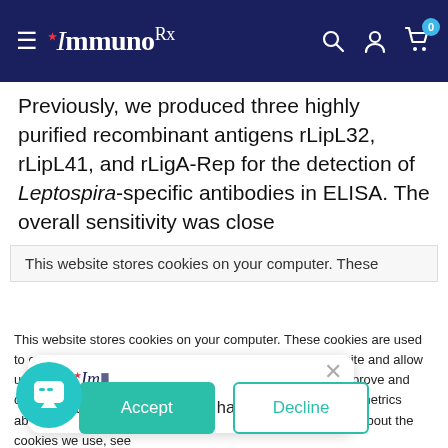ImmunoDx navigation bar with logo, search, account, and cart icons
Previously, we produced three highly purified recombinant antigens rLipL32, rLipL41, and rLigA-Rep for the detection of Leptospira-specific antibodies in ELISA. The overall sensitivity was close
This website stores cookies on your computer. These
This website stores cookies on your computer. These cookies are used to collect information about how you interact with our website and allow us to remember you. We use this information in order to improve and customize your browsing experience and for analytics and metrics about our visitors both on this website and other media. To find out more about the cookies we use, see our
If you decline, your information won't be tracked when you visit this website. A single cookie will be used in your browser to remember your preference not to be tracked.
Got any questions? I'm happy to help.
Accept
Decline